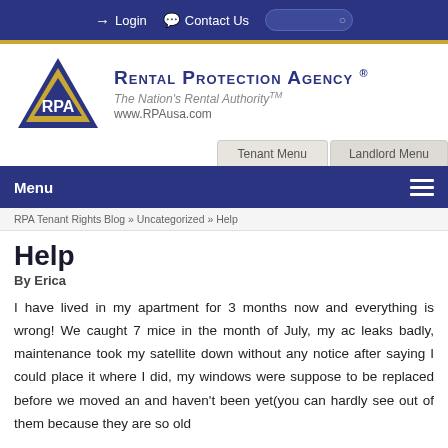Login  Contact Us
[Figure (logo): RPA Rental Protection Agency logo with gold triangle and RPA letters, tagline: The Nation's Rental Authority TM, www.RPAusa.com]
Tenant Menu  Landlord Menu
Menu
RPA Tenant Rights Blog » Uncategorized » Help
Help
By Erica
I have lived in my apartment for 3 months now and everything is wrong! We caught 7 mice in the month of July, my ac leaks badly, maintenance took my satellite down without any notice after saying I could place it where I did, my windows were suppose to be replaced before we moved an and haven't been yet(you can hardly see out of them because they are so old